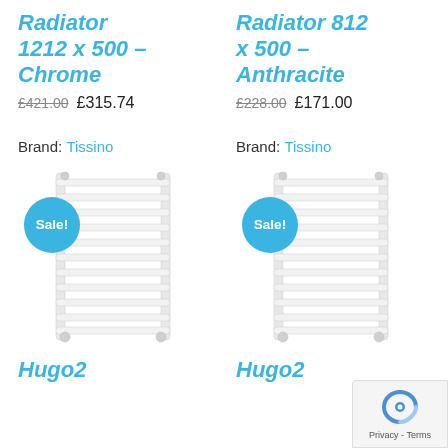Radiator 1212 x 500 – Chrome
£421.00  £315.74
Brand: Tissino
[Figure (photo): White ladder-style towel radiator with Sale! badge in teal circle]
Hugo2
Radiator 812 x 500 – Anthracite
£228.00  £171.00
Brand: Tissino
[Figure (photo): White ladder-style towel radiator with Sale! badge in teal circle]
Hugo2